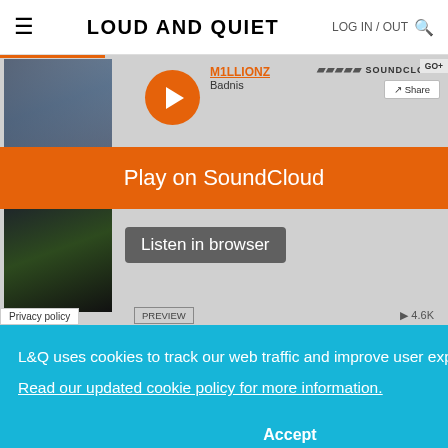≡  LOUD AND QUIET  LOG IN / OUT 🔍
[Figure (screenshot): SoundCloud embedded player showing Millionz - Badnis track with play button, Play on SoundCloud orange button, Listen in browser button, GO+ badge, PREVIEW label, and 4.6K play count]
Privacy policy
L&Q uses cookies to track our web traffic and improve user experience.
Read our updated cookie policy for more information.
Accept